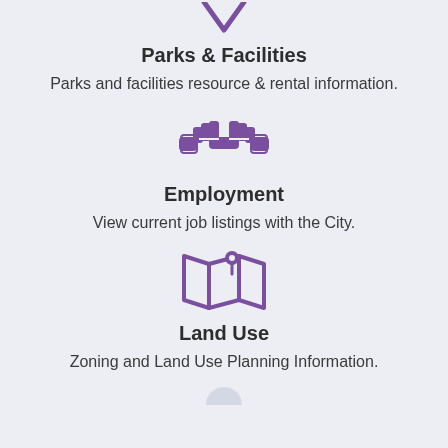[Figure (illustration): Purple map pin / location marker icon pointing downward (partially visible at top)]
Parks & Facilities
Parks and facilities resource & rental information.
[Figure (illustration): Purple handshake icon representing employment/partnership]
Employment
View current job listings with the City.
[Figure (illustration): Purple map/land use icon with a location pin on top of a folded map]
Land Use
Zoning and Land Use Planning Information.
[Figure (illustration): Partially visible purple icon at bottom of page]